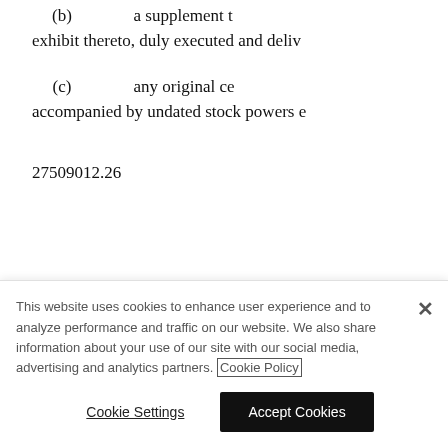(b)   a supplement t exhibit thereto, duly executed and deliv
(c)   any original ce accompanied by undated stock powers
27509012.26
This website uses cookies to enhance user experience and to analyze performance and traffic on our website. We also share information about your use of our site with our social media, advertising and analytics partners. Cookie Policy